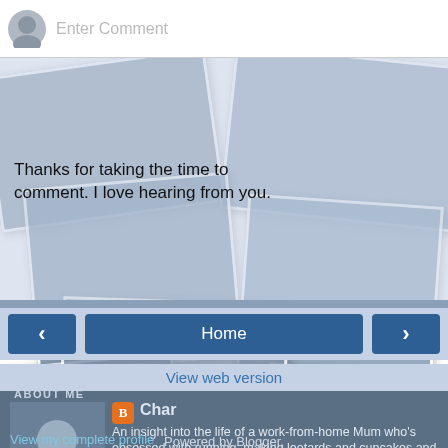[Figure (screenshot): Comment input box with avatar placeholder and 'Enter Comment' placeholder text]
[Figure (photo): Photo collage of runners/athletes in background]
Thanks for taking the time to comment. I love hearing from you.
[Figure (screenshot): Navigation bar with left arrow, Home button, and right arrow]
View web version
ABOUT ME
[Figure (photo): Profile photo of Char, a woman with curly hair]
Char
An insight into the life of a work-from-home Mum who's obsessed with running, making leotards and cupcakes and, of course, looking after a menagerie of 1 husband, 3 sons, 2 dogs, 2 hens and a cockatiel.
View my complete profile
Powered by Blogger.